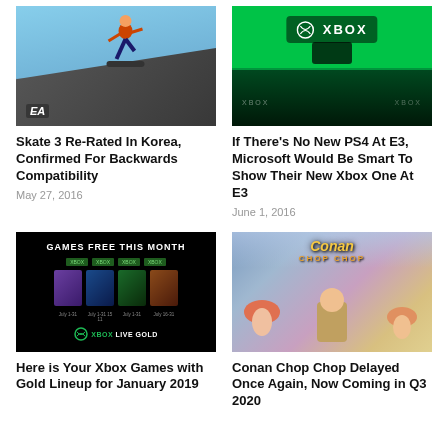[Figure (photo): Skateboarder doing a trick in the air, EA logo visible in bottom left]
Skate 3 Re-Rated In Korea, Confirmed For Backwards Compatibility
May 27, 2016
[Figure (photo): Xbox event stage with large green Xbox logo display and audience]
If There’s No New PS4 At E3, Microsoft Would Be Smart To Show Their New Xbox One At E3
June 1, 2016
[Figure (photo): Xbox Games with Gold promotional image showing free games this month with Xbox Live Gold logo]
Here is Your Xbox Games with Gold Lineup for January 2019
[Figure (photo): Conan Chop Chop game artwork with cartoon characters in a colorful battle scene]
Conan Chop Chop Delayed Once Again, Now Coming in Q3 2020